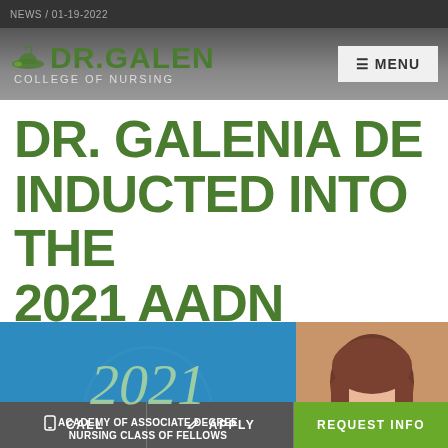NEWS / 01-19-2022
[Figure (logo): Dr. Galen College of Nursing logo with lamp icon]
≡ MENU
DR. GALENIA DE… INDUCTED INTO THE 2021 AADN CLASS OF FELLOWS
[Figure (infographic): 2021 Academy of Associate Degree Nursing Class of Fellows Inductee certificate graphic (blue background with year 2021 in green italic, white text, and green INDUCTEE label)]
[Figure (photo): Portrait photo of a smiling woman with short brown hair and glasses, with a green chat bubble icon overlay]
CALL   APPLY   REQUEST INFO